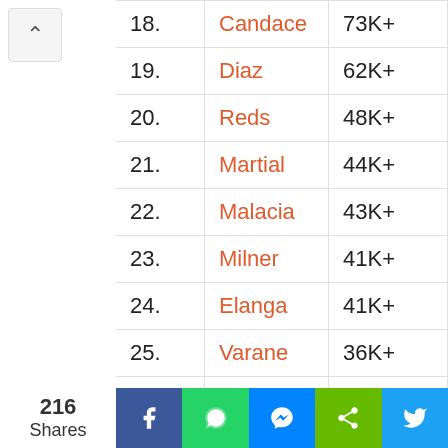| Rank | Name | Count |
| --- | --- | --- |
| 18. | Candace | 73K+ |
| 19. | Diaz | 62K+ |
| 20. | Reds | 48K+ |
| 21. | Martial | 44K+ |
| 22. | Malacia | 43K+ |
| 23. | Milner | 41K+ |
| 24. | Elanga | 41K+ |
| 25. | Varane | 36K+ |
| 26. | Klopp | 35K+ |
216 Shares | Facebook | WhatsApp | Messenger | Share | Twitter